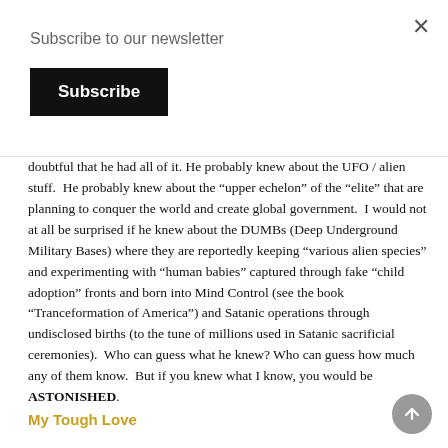Subscribe to our newsletter
Subscribe
doubtful that he had all of it. He probably knew about the UFO / alien stuff. He probably knew about the "upper echelon" of the "elite" that are planning to conquer the world and create global government. I would not at all be surprised if he knew about the DUMBs (Deep Underground Military Bases) where they are reportedly keeping "various alien species" and experimenting with "human babies" captured through fake "child adoption" fronts and born into Mind Control (see the book "Tranceformation of America") and Satanic operations through undisclosed births (to the tune of millions used in Satanic sacrificial ceremonies). Who can guess what he knew? Who can guess how much any of them know. But if you knew what I know, you would be ASTONISHED.
My Tough Love